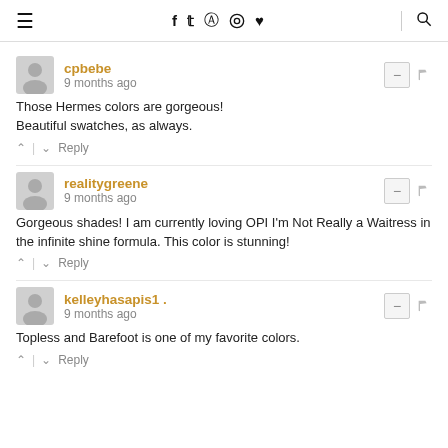≡  f  t  ⊙  ℗  ♥  🔍
cpbebe
9 months ago
Those Hermes colors are gorgeous! Beautiful swatches, as always.
↑ | ↓  Reply
realitygreene
9 months ago
Gorgeous shades! I am currently loving OPI I'm Not Really a Waitress in the infinite shine formula. This color is stunning!
↑ | ↓  Reply
kelleyhasapis1 .
9 months ago
Topless and Barefoot is one of my favorite colors.
↑ | ↓  Reply